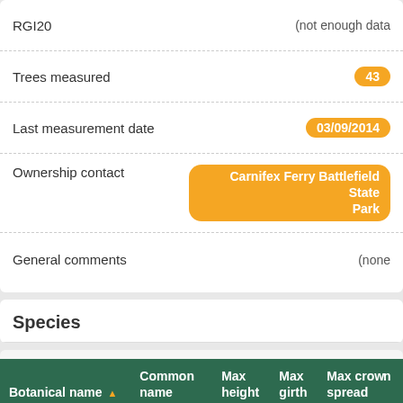| Field | Value |
| --- | --- |
| RGI20 | (not enough data |
| Trees measured | 43 |
| Last measurement date | 03/09/2014 |
| Ownership contact | Carnifex Ferry Battlefield State Park |
| General comments | (none |
Species
| Botanical name | Common name | Max height | Max girth | Max crown spread |
| --- | --- | --- | --- | --- |
| Acer rubrum var. rubrum | Red Maple | 112.3' | 64" | - |